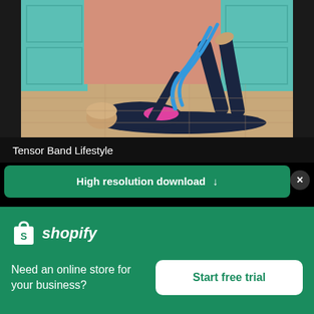[Figure (photo): Woman lying on a wood floor doing a resistance band stretch with legs raised, wearing dark athletic wear with pink accents, teal and salmon colored doors in background]
Tensor Band Lifestyle
High resolution download ↓
[Figure (logo): Shopify logo: shopping bag icon with letter S, followed by italic bold text 'shopify']
Need an online store for your business?
Start free trial